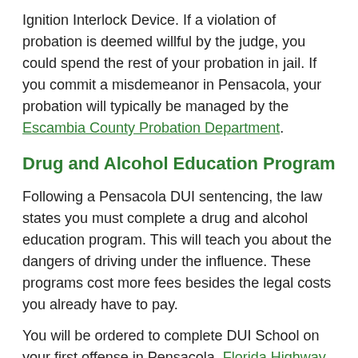Ignition Interlock Device. If a violation of probation is deemed willful by the judge, you could spend the rest of your probation in jail. If you commit a misdemeanor in Pensacola, your probation will typically be managed by the Escambia County Probation Department.
Drug and Alcohol Education Program
Following a Pensacola DUI sentencing, the law states you must complete a drug and alcohol education program. This will teach you about the dangers of driving under the influence. These programs cost more fees besides the legal costs you already have to pay.
You will be ordered to complete DUI School on your first offense in Pensacola. Florida Highway Safety and Motor Vehicles licenses DUI programs across the state that can satisfy this requirement. The Level I course for first-time DUI offenders involves a minimum of 12 hours of classroom